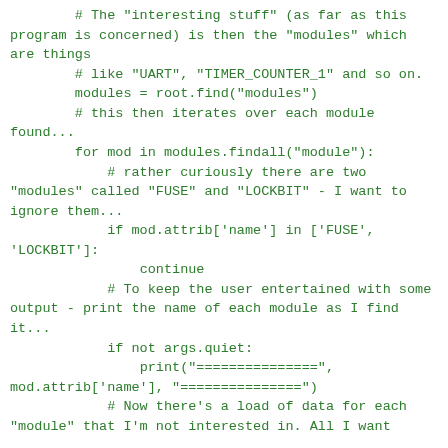# The "interesting stuff" (as far as this program is concerned) is then the "modules" which are things
        # like "UART", "TIMER_COUNTER_1" and so on.
        modules = root.find("modules")
        # this then iterates over each module found...
        for mod in modules.findall("module"):
            # rather curiously there are two "modules" called "FUSE" and "LOCKBIT" - I want to ignore them...
            if mod.attrib['name'] in ['FUSE', 'LOCKBIT']:
                continue
            # To keep the user entertained with some output - print the name of each module as I find it...
            if not args.quiet:
                print("===============", mod.attrib['name'], "===============")
            # Now there's a load of data for each "module" that I'm not interested in. All I want